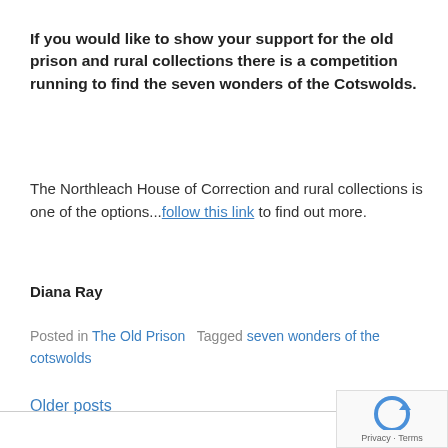If you would like to show your support for the old prison and rural collections there is a competition running to find the seven wonders of the Cotswolds.
The Northleach House of Correction and rural collections is one of the options...follow this link to find out more.
Diana Ray
Posted in The Old Prison   Tagged seven wonders of the cotswolds
Older posts